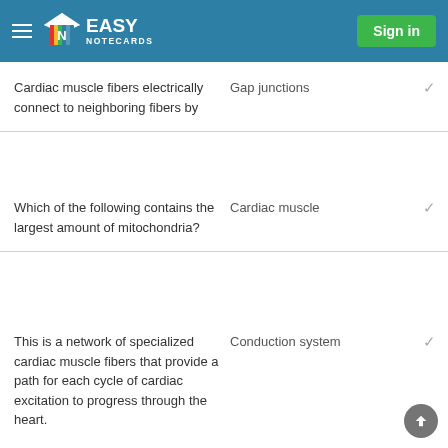Easy Notecards — Sign in
Cardiac muscle fibers electrically connect to neighboring fibers by
Which of the following contains the largest amount of mitochondria?
This is a network of specialized cardiac muscle fibers that provide a path for each cycle of cardiac excitation to progress through the heart.